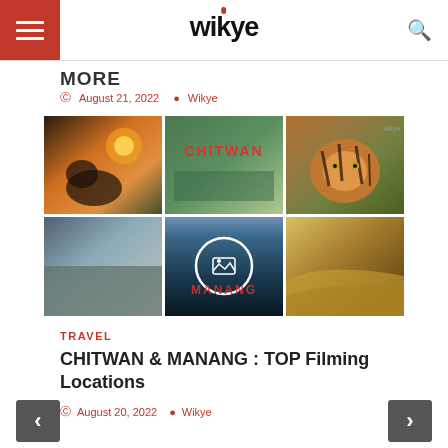wikye
MORE
August 21, 2022  Wikye
[Figure (photo): 3x2 grid of travel photos showing wildlife (elephants, tiger), Chitwan national park water scenes, Manang mountain landscape, and desert sand dunes. Center cell shows a play/gallery button circle overlay with CHITWAN and MANANG text labels.]
TRAVEL
CHITWAN & MANANG : TOP Filming Locations
August 20, 2022  Wikye